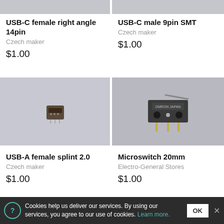[Figure (photo): USB-C female right angle 14pin product image (partially cropped, grey background)]
[Figure (photo): USB-C male 9pin SMT product image (partially cropped, grey background)]
USB-C female right angle 14pin
Czech maker
$1.00
USB-C male 9pin SMT
Czech maker
$1.00
[Figure (photo): USB-A female splint 2.0 connector on grey background]
[Figure (photo): Microswitch 20mm (Omron Japan) on grey background with metal lever arm]
USB-A female splint 2.0
Czech maker
$1.00
Microswitch 20mm
Electro-General Stores
$1.00
Cookies help us deliver our services. By using our services, you agree to our use of cookies. Learn more.